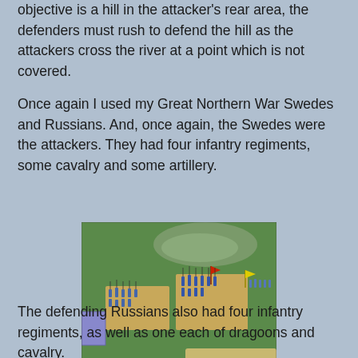objective is a hill in the attacker's rear area, the defenders must rush to defend the hill as the attackers cross the river at a point which is not covered.
Once again I used my Great Northern War Swedes and Russians. And, once again, the Swedes were the attackers. They had four infantry regiments, some cavalry and some artillery.
[Figure (photo): Top-down view of a wargame table with miniature soldiers (infantry regiments) on sandy/cork bases arranged on a green felt surface, with a hill terrain piece visible in the background.]
The defending Russians also had four infantry regiments, as well as one each of dragoons and cavalry.